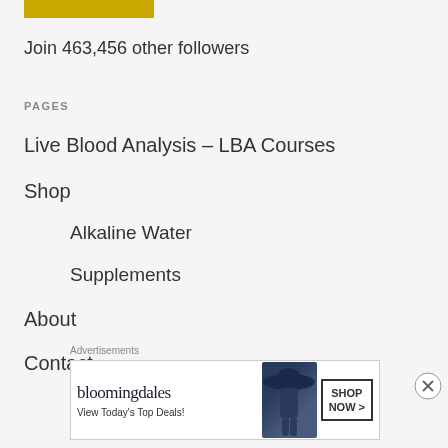[Figure (other): Gold/yellow rectangular bar at top left]
Join 463,456 other followers
PAGES
Live Blood Analysis – LBA Courses
Shop
Alkaline Water
Supplements
About
Contact
Advertisements
[Figure (photo): Bloomingdales advertisement banner showing logo, 'View Today's Top Deals!' text, a woman in a wide-brim hat, and a 'SHOP NOW >' button]